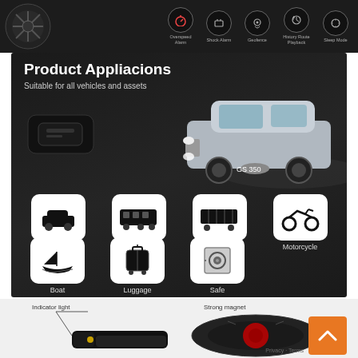[Figure (photo): Top dark strip showing a round black GPS tracker device on the left and five feature icons (Overspeed Alarm, Shock Alarm, Geofence, History Route Playback, Sleep Mode) on the right with circular icon graphics and labels]
[Figure (infographic): Product Applications section on dark background showing a GPS tracker device, a silver Lexus GS 350 car, and 7 vehicle/asset application icons: Car, Bus, Container, Motorcycle, Boat, Luggage, Safe]
Product Appliacions
Suitable for all vehicles and assets
Car
Bus
Container
Motorcycle
Boat
Luggage
Safe
[Figure (photo): Bottom section showing side profile of black GPS tracker device with annotation 'Indicator light' pointing to yellow LEDs, and a partial view of the round magnet tracker with annotation 'Strong magnet']
Indicator light
Strong magnet
[Figure (other): Orange scroll-to-top button with upward arrow chevron]
Privacy · Terms